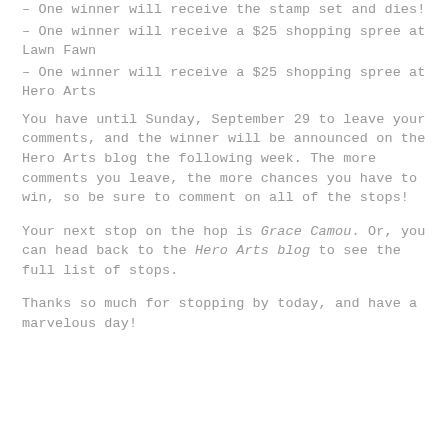– One winner will receive the stamp set and dies!
– One winner will receive a $25 shopping spree at Lawn Fawn
– One winner will receive a $25 shopping spree at Hero Arts
You have until Sunday, September 29 to leave your comments, and the winner will be announced on the Hero Arts blog the following week. The more comments you leave, the more chances you have to win, so be sure to comment on all of the stops!
Your next stop on the hop is Grace Camou. Or, you can head back to the Hero Arts blog to see the full list of stops.
Thanks so much for stopping by today, and have a marvelous day!